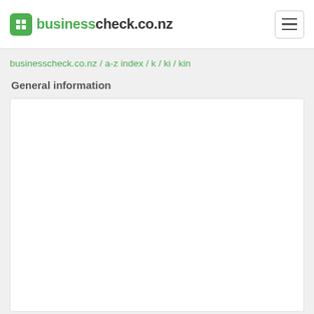businesscheck.co.nz
businesscheck.co.nz / a-z index / k / ki / kin
General information